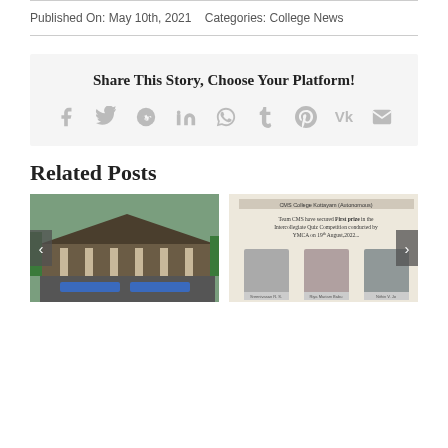Published On: May 10th, 2021   Categories: College News
Share This Story, Choose Your Platform!
[Figure (infographic): Social sharing icons: Facebook, Twitter, Reddit, LinkedIn, WhatsApp, Tumblr, Pinterest, VK, Email]
Related Posts
[Figure (photo): Group of people gathered outdoors in front of a building, holding banners for a march or protest]
[Figure (photo): Certificate/notice stating Team CMS have secured First prize in the Intercollegiate Quiz Competition conducted by YMCA on 19th August 2022, with three student portrait photos below]